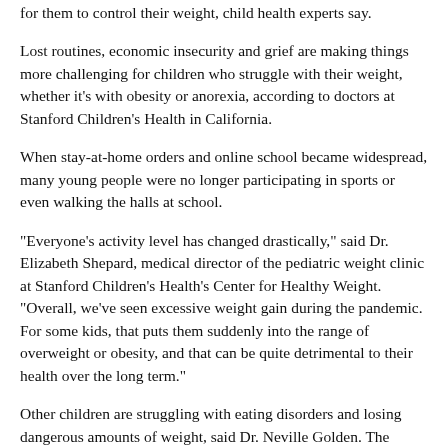for them to control their weight, child health experts say.
Lost routines, economic insecurity and grief are making things more challenging for children who struggle with their weight, whether it's with obesity or anorexia, according to doctors at Stanford Children's Health in California.
When stay-at-home orders and online school became widespread, many young people were no longer participating in sports or even walking the halls at school.
"Everyone's activity level has changed drastically," said Dr. Elizabeth Shepard, medical director of the pediatric weight clinic at Stanford Children's Health's Center for Healthy Weight. "Overall, we've seen excessive weight gain during the pandemic. For some kids, that puts them suddenly into the range of overweight or obesity, and that can be quite detrimental to their health over the long term."
Other children are struggling with eating disorders and losing dangerous amounts of weight, said Dr. Neville Golden. The number of patients hospitalized through the Stanford Children's Health's Comprehensive Eating Disorders Program for the medical complications of eating disorders has been at its highest level in decades, noted Golden, chief of adolescent medicine, who treats